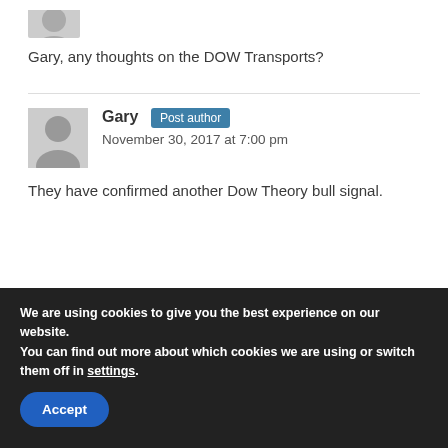[Figure (illustration): Partial gray avatar icon cropped at top of page]
Gary, any thoughts on the DOW Transports?
[Figure (illustration): Gray default avatar/profile image placeholder]
Gary Post author
November 30, 2017 at 7:00 pm
They have confirmed another Dow Theory bull signal.
We are using cookies to give you the best experience on our website.
You can find out more about which cookies we are using or switch them off in settings.
Accept